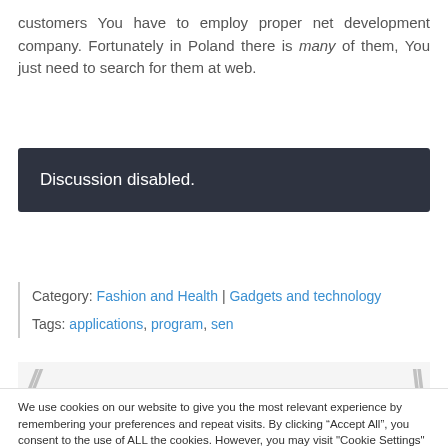customers You have to employ proper net development company. Fortunately in Poland there is many of them, You just need to search for them at web.
Discussion disabled.
Category: Fashion and Health | Gadgets and technology
Tags: applications, program, sen
We use cookies on our website to give you the most relevant experience by remembering your preferences and repeat visits. By clicking “Accept All”, you consent to the use of ALL the cookies. However, you may visit "Cookie Settings" to provide a controlled consent.